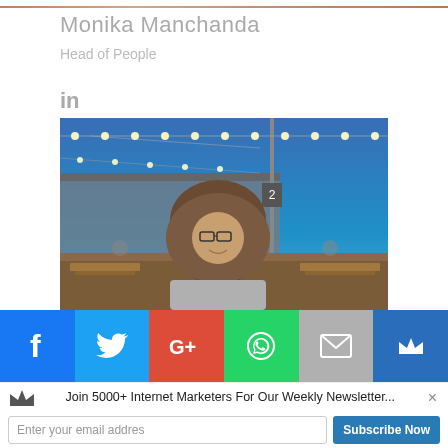[Figure (photo): Cropped top edge of a photo, mostly skin tones visible at the very top]
Monika Manchanda
Head of People
[Figure (logo): LinkedIn 'in' logo icon in gray]
[Figure (photo): Outdoor evening photo of a woman wearing a hijab and glasses, seated at a venue with string lights and picnic tables under a blue twilight sky]
[Figure (infographic): Social sharing bar with six buttons: Facebook (f), Twitter (bird), Google+ (G+), WhatsApp (phone bubble), Email (envelope), and a crown icon]
Join 5000+ Internet Marketers For Our Weekly Newsletter...
Enter your email addres
Subscribe Now